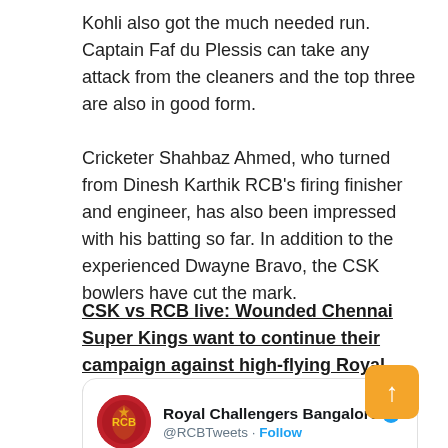Kohli also got the much needed run. Captain Faf du Plessis can take any attack from the cleaners and the top three are also in good form.
Cricketer Shahbaz Ahmed, who turned from Dinesh Karthik RCB's firing finisher and engineer, has also been impressed with his batting so far. In addition to the experienced Dwayne Bravo, the CSK bowlers have cut the mark.
CSK vs RCB live: Wounded Chennai Super Kings want to continue their campaign against high-flying Royal Challengers Bangalore – follow live updates
[Figure (screenshot): Tweet card from Royal Challengers Bangalore Twitter account (@RCBTweets) with verified badge and Follow button, showing RCB logo]